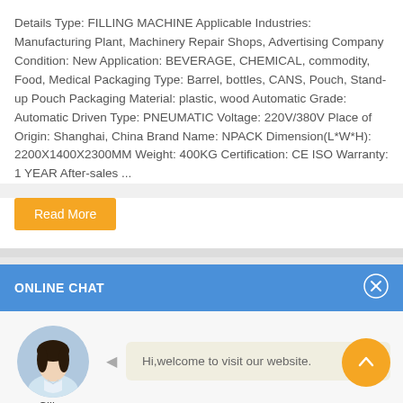Details Type: FILLING MACHINE Applicable Industries: Manufacturing Plant, Machinery Repair Shops, Advertising Company Condition: New Application: BEVERAGE, CHEMICAL, commodity, Food, Medical Packaging Type: Barrel, bottles, CANS, Pouch, Stand-up Pouch Packaging Material: plastic, wood Automatic Grade: Automatic Driven Type: PNEUMATIC Voltage: 220V/380V Place of Origin: Shanghai, China Brand Name: NPACK Dimension(L*W*H): 2200X1400X2300MM Weight: 400KG Certification: CE ISO Warranty: 1 YEAR After-sales ...
Read More
ONLINE CHAT
Hi,welcome to visit our website.
Cilina